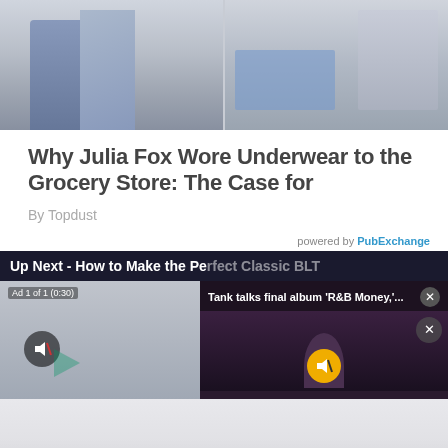[Figure (photo): Two paparazzi-style photos of a person at what appears to be a grocery store, wearing blue boots and denim outfit, side by side]
Why Julia Fox Wore Underwear to the Grocery Store: The Case for
By Topdust
powered by PubExchange
Up Next - How to Make the Perfect Classic BLT
[Figure (screenshot): Video player overlay showing 'Tank talks final album R&B Money,...' with close button, ad indicator, mute buttons, and video content]
[Figure (photo): Bottom portion showing blurred/faded background image area]